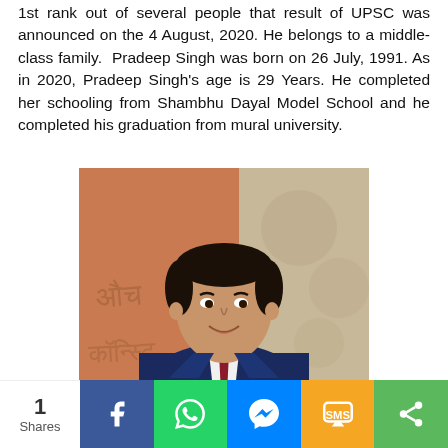1st rank out of several people that result of UPSC was announced on the 4 August, 2020. He belongs to a middle-class family. Pradeep Singh was born on 26 July, 1991. As in 2020, Pradeep Singh's age is 29 Years. He completed her schooling from Shambhu Dayal Model School and he completed his graduation from mural university.
[Figure (photo): Portrait photo of Pradeep Singh, a young man in a navy blue suit with a dark red tie and white shirt, smiling, with a terracotta/orange background with decorative script lettering.]
1 Shares | Facebook | WhatsApp | Messenger | SMS | Share